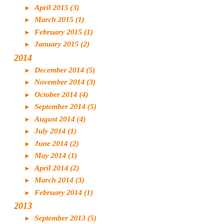April 2015 (3)
March 2015 (1)
February 2015 (1)
January 2015 (2)
2014
December 2014 (5)
November 2014 (3)
October 2014 (4)
September 2014 (5)
August 2014 (4)
July 2014 (1)
June 2014 (2)
May 2014 (1)
April 2014 (2)
March 2014 (3)
February 2014 (1)
2013
September 2013 (5)
August 2013 (1)
July 2013 (5)